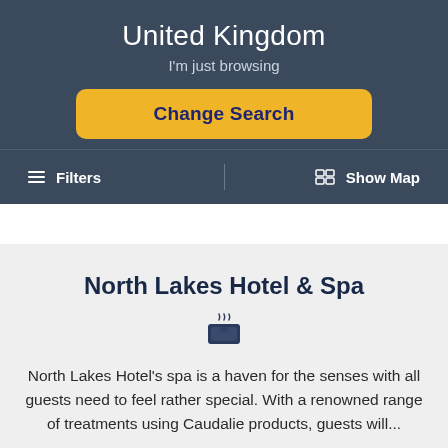United Kingdom
I'm just browsing
Change Search
☰ Filters
🗺 Show Map
North Lakes Hotel & Spa
North Lakes Hotel's spa is a haven for the senses with all guests need to feel rather special. With a renowned range of treatments using Caudalie products, guests will...